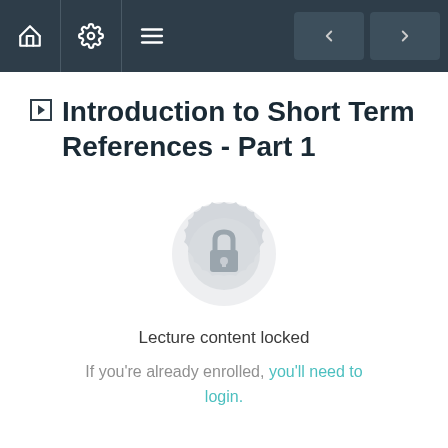Navigation bar with home, settings, menu icons and back/forward buttons
Introduction to Short Term References - Part 1
[Figure (illustration): Locked badge icon: a decorative circular medallion/seal with a padlock in the center, rendered in light grey]
Lecture content locked
If you're already enrolled, you'll need to login.